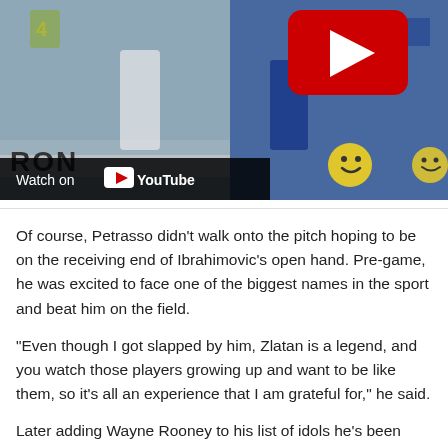[Figure (screenshot): YouTube-embedded soccer video showing two players on a field, with a YouTube play button overlay in top right and 'Watch on YouTube' overlay in bottom left.]
Of course, Petrasso didn't walk onto the pitch hoping to be on the receiving end of Ibrahimovic's open hand. Pre-game, he was excited to face one of the biggest names in the sport and beat him on the field.
"Even though I got slapped by him, Zlatan is a legend, and you watch those players growing up and want to be like them, so it's all an experience that I am grateful for," he said.
Later adding Wayne Rooney to his list of idols he's been...